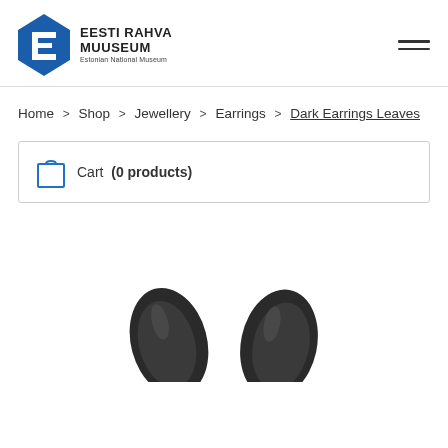[Figure (logo): Eesti Rahva Muuseum (Estonian National Museum) logo — blue diamond shape with white zigzag, alongside text 'EESTI RAHVA MUUSEUM' and subtitle 'Estonian National Museum']
Home > Shop > Jewellery > Earrings > Dark Earrings Leaves
Cart (0 products)
[Figure (photo): Close-up photo of two dark (black/dark grey) leaf-shaped earrings against a white background, partially cropped at bottom of page]